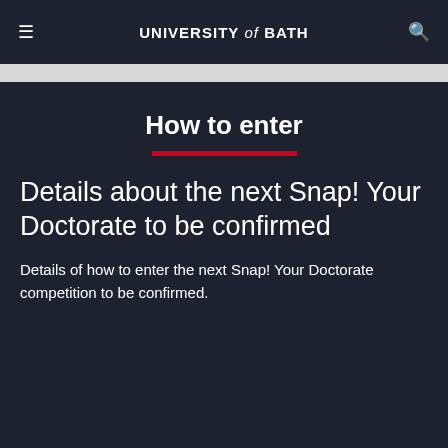UNIVERSITY of BATH
How to enter
Details about the next Snap! Your Doctorate to be confirmed
Details of how to enter the next Snap! Your Doctorate competition to be confirmed.